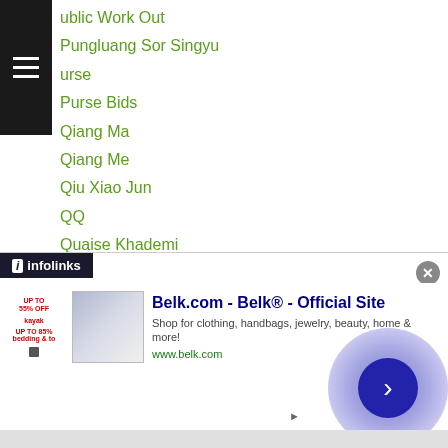ublic Work Out
Pungluang Sor Singyu
urse
Purse Bids
Qiang Ma
Qiang Me
Qiu Xiao Jun
QQ
Quaise Khademi
Quaye Peter
Qudratillo Abduqaxorov
Rafael-concepcion
Rakesh Lohchab
Rakhat Seitzhan
Rakniran Muadransarakam
Randy Braga
Retalcorin
[Figure (screenshot): Infolinks ad badge and Belk.com advertisement banner with clothing/bedding image, text 'Belk.com - Belk® - Official Site', description, and URL www.belk.com, with circular navigation button on right]